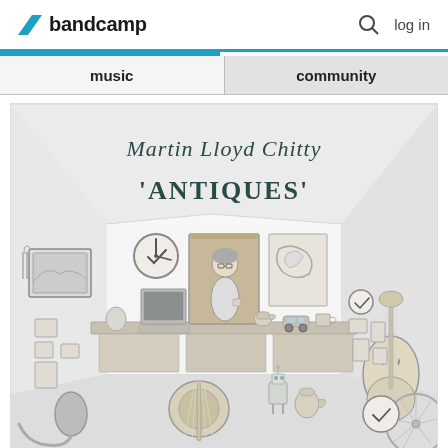bandcamp   log in
music   community
[Figure (illustration): Album cover illustration for 'Antiques' by Martin Lloyd Chitty. Pencil sketch drawing of an antiques shop interior with various items: clocks, frames, a cello/double bass, banjo, computer, teapot, toy car, robot figure, vacuum cleaner, and a person standing in a doorway. Text reads 'Martin Lloyd Chitty' and "'ANTIQUES'" in hand-drawn lettering.]